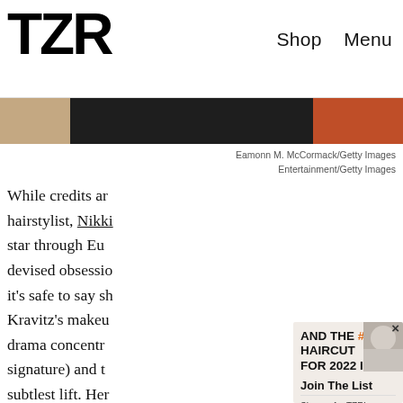TZR | Shop | Menu
[Figure (photo): Decorative image strip showing partial photos with skin and dark background and orange/red element]
Eamonn M. McCormack/Getty Images
Entertainment/Getty Images
While credits ar... hairstylist, Nikki... star through Eu... devised obsessio... it's safe to say sh... Kravitz's makeu... drama concentr... signature) and t... subtlest lift. Her... faintest wash of color while her lips are kept nude and
[Figure (screenshot): Popup overlay: AND THE #1 HAIRCUT FOR 2022 IS... with hair image, Join The List section, Sign up for TZR's exclusive email list to uncover this season's top trends, Email address input and Subscribe button]